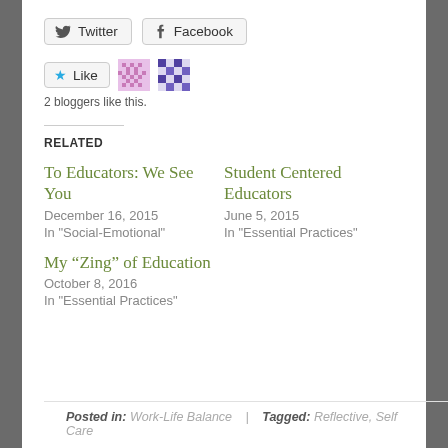[Figure (other): Twitter and Facebook share buttons]
[Figure (other): Like button with two blogger avatars (pixel pattern images)]
2 bloggers like this.
RELATED
To Educators: We See You
December 16, 2015
In "Social-Emotional"
Student Centered Educators
June 5, 2015
In "Essential Practices"
My “Zing” of Education
October 8, 2016
In "Essential Practices"
Posted in: Work-Life Balance  |  Tagged: Reflective, Self Care